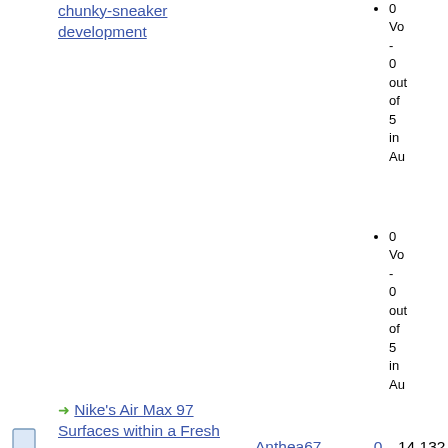chunky-sneaker development
0 Vo - 0 out of 5 in Au
→ Nike's Air Max 97 Surfaces within a Fresh | Anthea67 | 0 | 14,132
0 Vo - 0 out of 5 in Au
→ Nike Roshe One Sale | Demar24 | 0 | 3,398
0 Vo - 0 out of 5 in Au